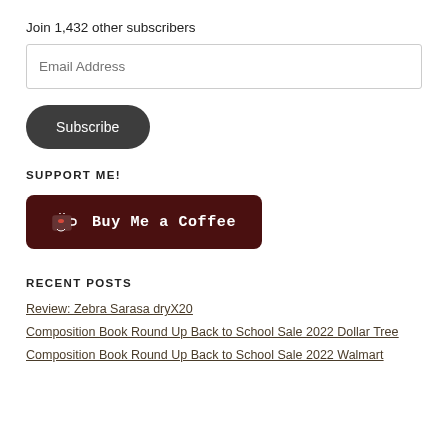Join 1,432 other subscribers
Email Address
Subscribe
SUPPORT ME!
[Figure (other): Buy Me a Coffee button with coffee cup icon on dark brown background]
RECENT POSTS
Review: Zebra Sarasa dryX20
Composition Book Round Up Back to School Sale 2022 Dollar Tree
Composition Book Round Up Back to School Sale 2022 Walmart